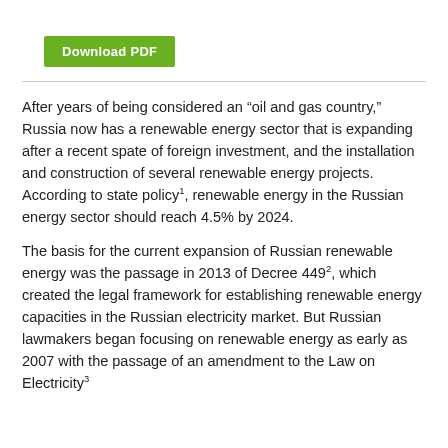Download PDF
After years of being considered an “oil and gas country,” Russia now has a renewable energy sector that is expanding after a recent spate of foreign investment, and the installation and construction of several renewable energy projects. According to state policy¹, renewable energy in the Russian energy sector should reach 4.5% by 2024.
The basis for the current expansion of Russian renewable energy was the passage in 2013 of Decree 449², which created the legal framework for establishing renewable energy capacities in the Russian electricity market. But Russian lawmakers began focusing on renewable energy as early as 2007 with the passage of an amendment to the Law on Electricity³